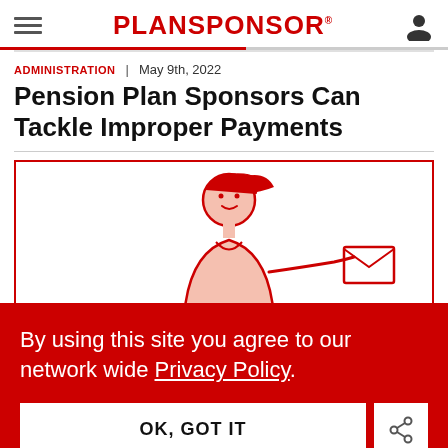PLANSPONSOR
ADMINISTRATION | May 9th, 2022
Pension Plan Sponsors Can Tackle Improper Payments
[Figure (illustration): Red line illustration of a woman with a ponytail holding or reaching toward an envelope/document, drawn in red and light pink tones.]
By using this site you agree to our network wide Privacy Policy.
OK, GOT IT